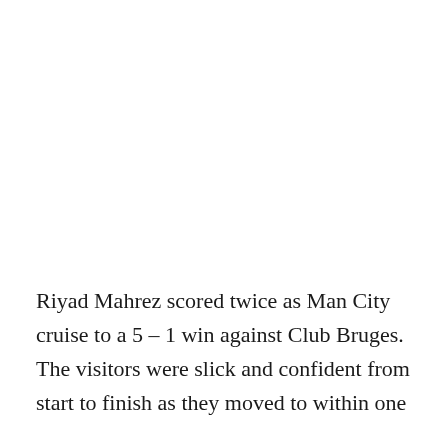Riyad Mahrez scored twice as Man City cruise to a 5 – 1 win against Club Bruges. The visitors were slick and confident from start to finish as they moved to within one